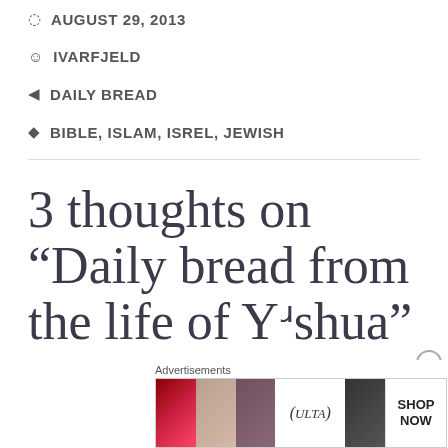AUGUST 29, 2013
IVARFJELD
DAILY BREAD
BIBLE, ISLAM, ISREL, JEWISH
3 thoughts on “Daily bread from the life of Yʴshua”
[Figure (other): ULTA beauty advertisement banner with makeup imagery and SHOP NOW text]